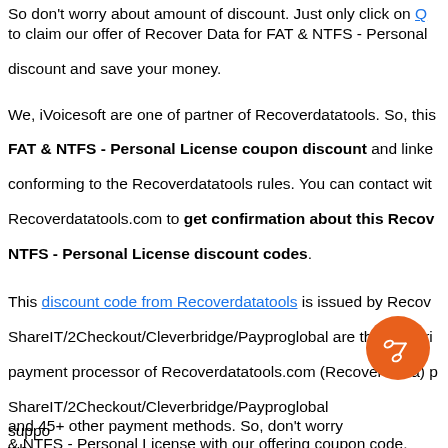So don't worry about amount of discount. Just only click on [link] to claim our offer of Recover Data for FAT & NTFS - Personal discount and save your money.
We, iVoicesoft are one of partner of Recoverdatatools. So, this FAT & NTFS - Personal License coupon discount and linked conforming to the Recoverdatatools rules. You can contact with Recoverdatatools.com to get confirmation about this Recover NTFS - Personal License discount codes.
This discount code from Recoverdatatools is issued by Recov... ShareIT/2Checkout/Cleverbridge/Payproglobal are the authori... payment processor of Recoverdatatools.com (Recover Data) p... ShareIT/2Checkout/Cleverbridge/Payproglobal support credit... and 45+ other payment methods. So, don't worry wh...ing & NTFS - Personal License with our offering coupon code.